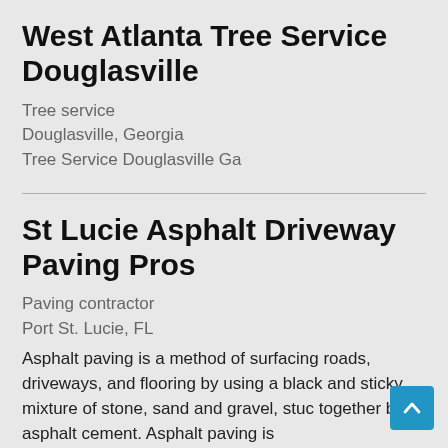West Atlanta Tree Service Douglasville
Tree service
Douglasville, Georgia
Tree Service Douglasville Ga
St Lucie Asphalt Driveway Paving Pros
Paving contractor
Port St. Lucie, FL
Asphalt paving is a method of surfacing roads, driveways, and flooring by using a black and sticky mixture of stone, sand and gravel, stuc together by asphalt cement. Asphalt paving is